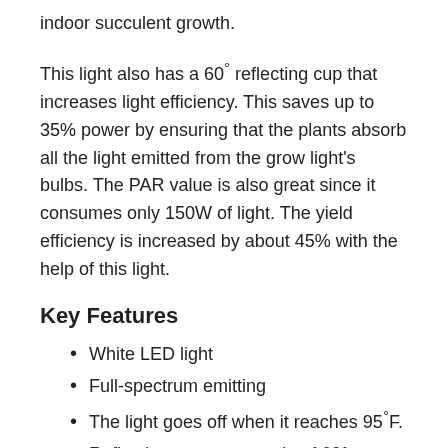indoor succulent growth.
This light also has a 60° reflecting cup that increases light efficiency. This saves up to 35% power by ensuring that the plants absorb all the light emitted from the grow light's bulbs. The PAR value is also great since it consumes only 150W of light. The yield efficiency is increased by about 45% with the help of this light.
Key Features
White LED light
Full-spectrum emitting
The light goes off when it reaches 95°F.
Reflective cup at an angle of 60°
2 years of warranty
30 days of a money-back guarantee